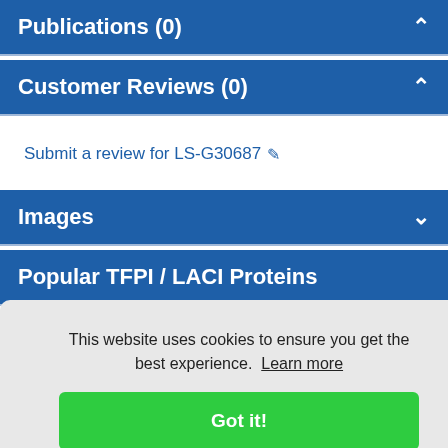Publications (0)
Customer Reviews (0)
Submit a review for LS-G30687
Images
Popular TFPI / LACI Proteins
This website uses cookies to ensure you get the best experience.  Learn more
Got it!
10